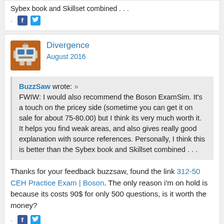Sybex book and Skillset combined . . .
[Figure (other): Social share icons: Facebook and Twitter]
Divergence
August 2016
BuzzSaw wrote: » FWIW: I would also recommend the Boson ExamSim. It's a touch on the pricey side (sometime you can get it on sale for about 75-80.00) but I think its very much worth it. It helps you find weak areas, and also gives really good explanation with source references. Personally, I think this is better than the Sybex book and Skillset combined . . .
Thanks for your feedback buzzsaw, found the link 312-50 CEH Practice Exam | Boson. The only reason i'm on hold is because its costs 90$ for only 500 questions, is it worth the money?
[Figure (other): Social share icons: Facebook and Twitter]